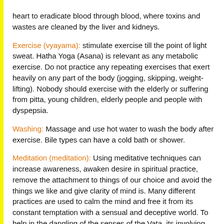heart to eradicate blood through blood, where toxins and wastes are cleaned by the liver and kidneys.
Exercise (vyayama): stimulate exercise till the point of light sweat. Hatha Yoga (Asana) is relevant as any metabolic exercise. Do not practice any repeating exercises that exert heavily on any part of the body (jogging, skipping, weight-lifting). Nobody should exercise with the elderly or suffering from pitta, young children, elderly people and people with dyspepsia.
Washing: Massage and use hot water to wash the body after exercise. Bile types can have a cold bath or shower.
Meditation (meditation): Using meditative techniques can increase awareness, awaken desire in spiritual practice, remove the attachment to things of our choice and avoid the things we like and give clarity of mind is. Many different practices are used to calm the mind and free it from its constant temptation with a sensual and deceptive world. To help in the dangling of the senses of the Vata, its involving monkey-mind 'should be practiced in creative scenes, sequences, rituals and regularity. Meditation for creative counterparts can be an example of this. Bile type can emphasize regulatory subjects, including counting of breath and reconciliation of respiration or removing irritability, focusing